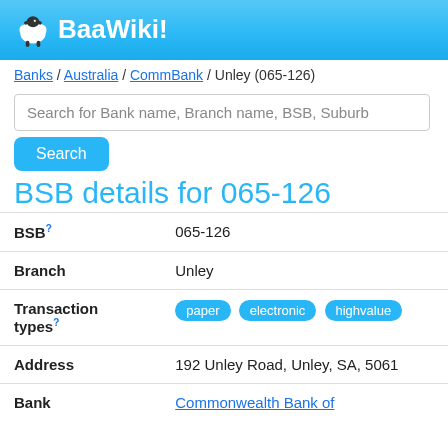BaaWiki!
Banks / Australia / CommBank / Unley (065-126)
Search for Bank name, Branch name, BSB, Suburb
BSB details for 065-126
| Field | Value |
| --- | --- |
| BSB? | 065-126 |
| Branch | Unley |
| Transaction types? | paper  electronic  highvalue |
| Address | 192 Unley Road, Unley, SA, 5061 |
| Bank | Commonwealth Bank of |